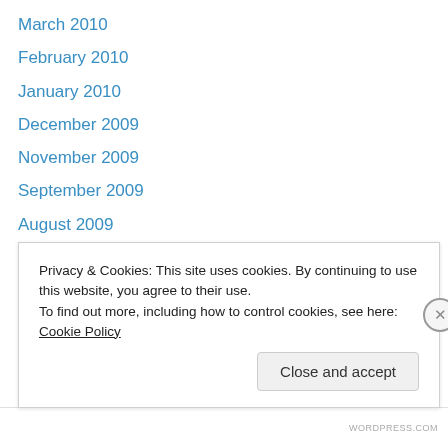April 2010
March 2010
February 2010
January 2010
December 2009
November 2009
September 2009
August 2009
July 2009
June 2009
May 2009
April 2009
March 2009
February 2009
Privacy & Cookies: This site uses cookies. By continuing to use this website, you agree to their use.
To find out more, including how to control cookies, see here: Cookie Policy
Close and accept
WORDPRESS.COM